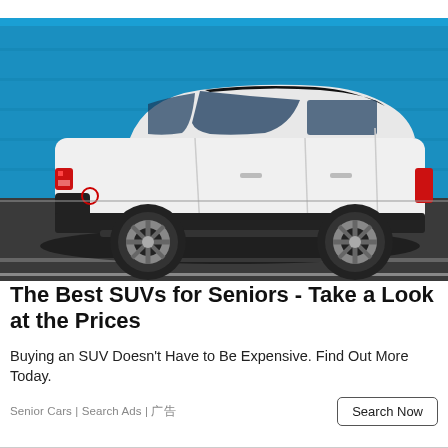[Figure (photo): Side profile of a white Volvo XC40 SUV driving on a road with a blue wall/building in the background.]
The Best SUVs for Seniors - Take a Look at the Prices
Buying an SUV Doesn’t Have to Be Expensive. Find Out More Today.
Senior Cars | Search Ads | 广告
Search Now